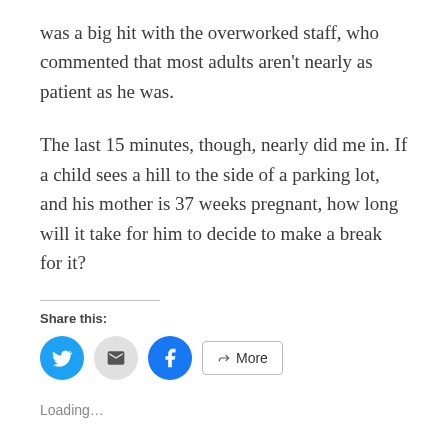was a big hit with the overworked staff, who commented that most adults aren't nearly as patient as he was.
The last 15 minutes, though, nearly did me in. If a child sees a hill to the side of a parking lot, and his mother is 37 weeks pregnant, how long will it take for him to decide to make a break for it?
Share this:
[Figure (infographic): Social share buttons: Twitter (blue circle), Email (grey circle), Facebook (blue circle), More (outlined button)]
Loading...